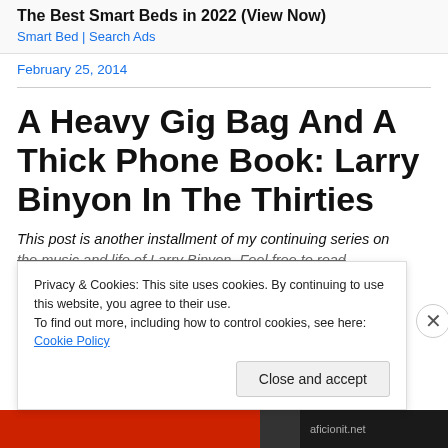The Best Smart Beds in 2022 (View Now)
Smart Bed | Search Ads
February 25, 2014
A Heavy Gig Bag And A Thick Phone Book: Larry Binyon In The Thirties
This post is another installment of my continuing series on the music and life of Larry Binyon. Feel free to read
Privacy & Cookies: This site uses cookies. By continuing to use this website, you agree to their use.
To find out more, including how to control cookies, see here: Cookie Policy
Close and accept